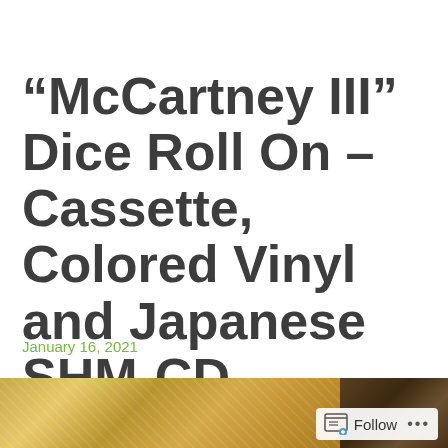“McCartney III” Dice Roll On – Cassette, Colored Vinyl and Japanese SHM-CD
January 16, 2021
[Figure (photo): Two images side by side at bottom of page: left image shows a gold/yellow textured surface (likely vinyl record or cassette label), right image shows a dark brown object (likely album or cassette packaging)]
Follow